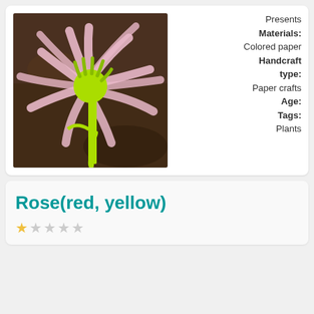[Figure (photo): Paper flower craft made from pink colored paper strips for petals and lime green paper for stem and center, placed on a wooden surface.]
Presents
Materials: Colored paper
Handcraft type: Paper crafts
Age:
Tags:
Plants
Rose(red, yellow)
★☆☆☆☆